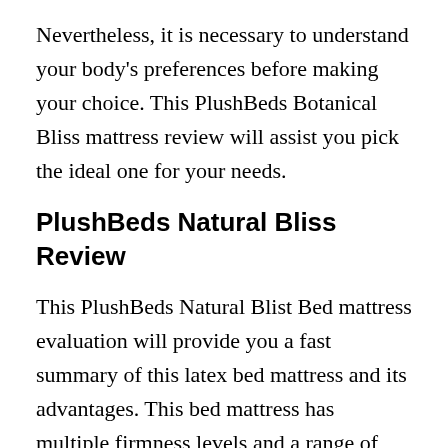Nevertheless, it is necessary to understand your body's preferences before making your choice. This PlushBeds Botanical Bliss mattress review will assist you pick the ideal one for your needs.
PlushBeds Natural Bliss Review
This PlushBeds Natural Blist Bed mattress evaluation will provide you a fast summary of this latex bed mattress and its advantages. This bed mattress has multiple firmness levels and a range of sizes. It provides great pressure relief and back support. It likewise lasts a lot longer than